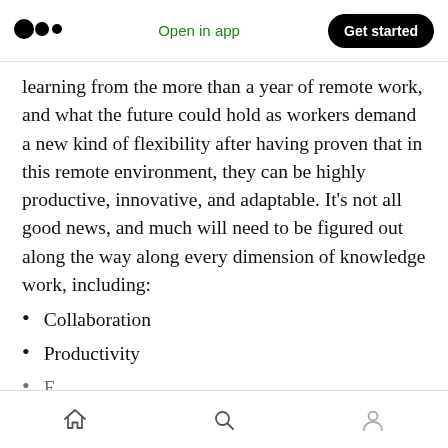Medium app header — Open in app | Get started
learning from the more than a year of remote work, and what the future could hold as workers demand a new kind of flexibility after having proven that in this remote environment, they can be highly productive, innovative, and adaptable. It's not all good news, and much will need to be figured out along the way along every dimension of knowledge work, including:
Collaboration
Productivity
E… (partial, cut off)
Bottom navigation: Home, Search, Profile